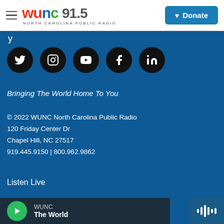[Figure (logo): WUNC 91.5 North Carolina Public Radio logo with hamburger menu icon]
[Figure (other): Donate button with heart icon in teal/blue]
y
[Figure (infographic): Row of 5 social media icons (Twitter, Instagram, YouTube, Facebook, LinkedIn) as white icons on black circles]
Bringing The World Home To You
© 2022 WUNC North Carolina Public Radio
120 Friday Center Dr
Chapel Hill, NC 27517
919.445.9150 | 800.962.9862
Listen Live
Podcasts From WUNC
Events
About
[Figure (other): Audio player bar at bottom showing WUNC / The World with play button and waveform icon]